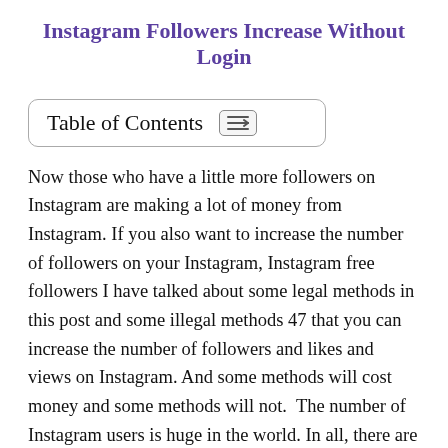Instagram Followers Increase Without Login
[Figure (other): Table of Contents box with icon button]
Now those who have a little more followers on Instagram are making a lot of money from Instagram. If you also want to increase the number of followers on your Instagram, Instagram free followers I have talked about some legal methods in this post and some illegal methods 47 that you can increase the number of followers and likes and views on Instagram. And some methods will cost money and some methods will not.  The number of Instagram users is huge in the world. In all, there are over 800 million Instagram users.  Some users may have 100 million followers here.  Again,